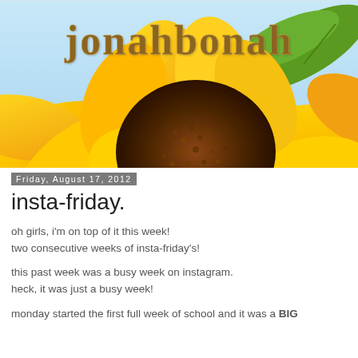[Figure (photo): Blog header banner showing a close-up of a sunflower with yellow petals and dark center against a light blue sky with green leaf, with the blog title 'jonahbonah' written in decorative brown/tan serif text overlay]
Friday, August 17, 2012
insta-friday.
oh girls, i'm on top of it this week!
two consecutive weeks of insta-friday's!
this past week was a busy week on instagram.
heck, it was just a busy week!
monday started the first full week of school and it was a BIG